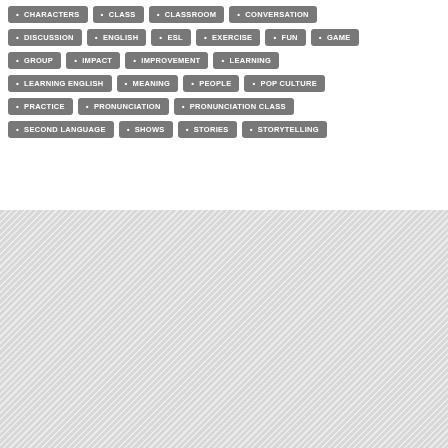[Figure (other): Tag cloud with grey pill-shaped tags: CHARACTERS, CLASS, CLASSROOM, CONVERSATION, DISCUSSION, ENGLISH, ESL, EXERCISE, FUN, GAME, GROUP, IMPACT, IMPROVEMENT, LEARNING, LEARNING ENGLISH, MEANING, PEOPLE, POP CULTURE, PRACTICE, PRONUNCIATION, PRONUNCIATION CLASS, SECOND LANGUAGE, SHOWS, STORIES, STORYTELLING]
[Figure (other): Diagonal hatched/striped grey area filling the bottom half of the page]